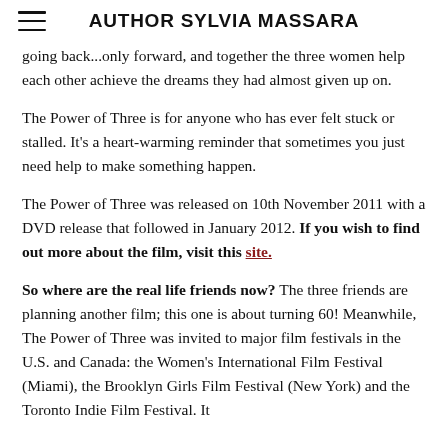AUTHOR SYLVIA MASSARA
going back...only forward, and together the three women help each other achieve the dreams they had almost given up on.
The Power of Three is for anyone who has ever felt stuck or stalled. It’s a heart-warming reminder that sometimes you just need help to make something happen.
The Power of Three was released on 10th November 2011 with a DVD release that followed in January 2012. If you wish to find out more about the film, visit this site.
So where are the real life friends now? The three friends are planning another film; this one is about turning 60! Meanwhile, The Power of Three was invited to major film festivals in the U.S. and Canada: the Women’s International Film Festival (Miami), the Brooklyn Girls Film Festival (New York) and the Toronto Indie Film Festival. It